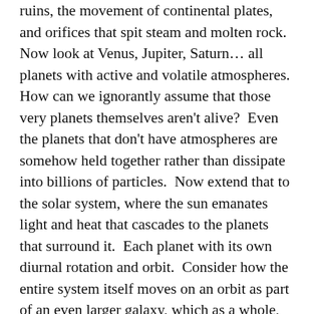ruins, the movement of continental plates, and orifices that spit steam and molten rock.  Now look at Venus, Jupiter, Saturn... all planets with active and volatile atmospheres.  How can we ignorantly assume that those very planets themselves aren't alive?  Even the planets that don't have atmospheres are somehow held together rather than dissipate into billions of particles.  Now extend that to the solar system, where the sun emanates light and heat that cascades to the planets that surround it.  Each planet with its own diurnal rotation and orbit.  Consider how the entire system itself moves on an orbit as part of an even larger galaxy, which as a whole, drifts away from a central point within the universe.  Considering the immeasurable enormity of the universe and the remote possibility that there may even exist a multiverse, why should we perceive this very active and alive existence to be governed by an external entity?  How could one even consider an external entity just created it and left it to itself (the deistic view) like some dead beat disinterested parent.  These are entities that we place in a box with our own attributes, rather than accepting it as an ineffable infinite source of energy and life and order. The greatest of the